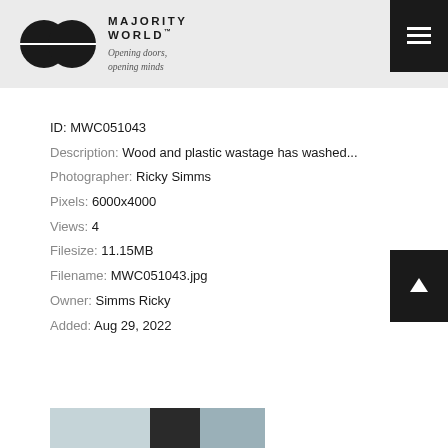[Figure (logo): Majority World logo with two overlapping black circles and brand name text]
ID: MWC051043
Description: Wood and plastic wastage has washed...
Photographer: Ricky Simms
Pixels: 6000x4000
Views: 4
Filesize: 11.15MB
Filename: MWC051043.jpg
Owner: Simms Ricky
Added: Aug 29, 2022
[Figure (photo): Partial thumbnail image visible at bottom of page]